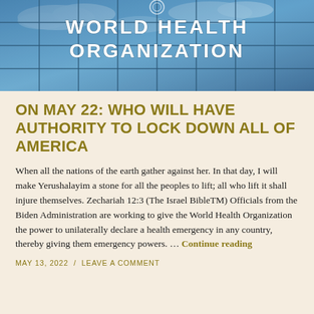[Figure (photo): Photo of a glass building facade with 'WORLD HEALTH ORGANIZATION' text reflected/displayed on it against a blue sky with clouds]
ON MAY 22: WHO WILL HAVE AUTHORITY TO LOCK DOWN ALL OF AMERICA
When all the nations of the earth gather against her. In that day, I will make Yerushalayim a stone for all the peoples to lift; all who lift it shall injure themselves. Zechariah 12:3 (The Israel BibleTM) Officials from the Biden Administration are working to give the World Health Organization the power to unilaterally declare a health emergency in any country, thereby giving them emergency powers. … Continue reading
MAY 13, 2022 / LEAVE A COMMENT